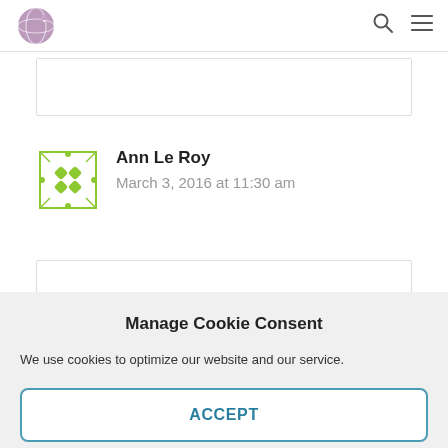Navigation bar with logo, search icon, and menu icon
Ann Le Roy
March 3, 2016 at 11:30 am
Manage Cookie Consent
We use cookies to optimize our website and our service.
ACCEPT
Cookie Policy   Privacy Statement